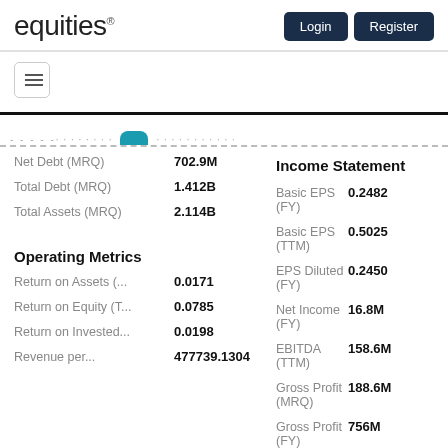equities® Login Register
Net Debt (MRQ) 702.9M
Total Debt (MRQ) 1.412B
Income Statement
Total Assets (MRQ) 2.114B
Basic EPS (FY) 0.2482
Basic EPS (TTM) 0.5025
Operating Metrics
EPS Diluted (FY) 0.2450
Return on Assets (... 0.0171
Net Income (FY) 16.8M
Return on Equity (T... 0.0785
EBITDA (TTM) 158.6M
Return on Invested... 0.0198
Gross Profit (MRQ) 188.6M
Revenue per... 477739.1304
Gross Profit (FY) 756M
Last Year Revenue... 1.099B
Total Revenue (FY) 1.099B
Free Cash Flow (... -126.2M